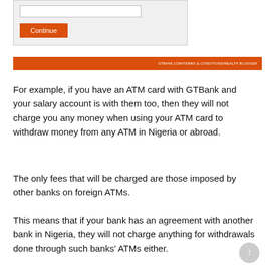[Figure (screenshot): Top portion showing a form area with an input box and an orange 'Continue' button on a light grey background, followed by an orange banner bar with small white URL text reading 'GTBANK.COM/TERMS & CONDITIONS/WEALTH BLOGGER']
For example, if you have an ATM card with GTBank and your salary account is with them too, then they will not charge you any money when using your ATM card to withdraw money from any ATM in Nigeria or abroad.
The only fees that will be charged are those imposed by other banks on foreign ATMs.
This means that if your bank has an agreement with another bank in Nigeria, they will not charge anything for withdrawals done through such banks' ATMs either.